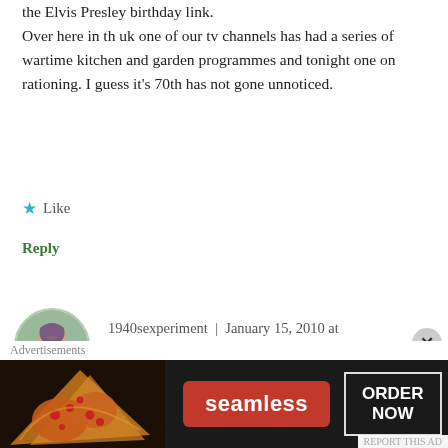the Elvis Presley birthday link.
Over here in th uk one of our tv channels has had a series of wartime kitchen and garden programmes and tonight one on rationing. I guess it's 70th has not gone unnoticed.
Like
Reply
1940sexperiment  |  January 15, 2010 at 7:05 pm
👍 9 👎 7 ℹ Rate This
Yes I heard about that- wish I could see it!!! That's one of the things I miss from the UK- those fabby
[Figure (screenshot): Seamless food ordering advertisement banner with pizza image, red Seamless button, and ORDER NOW button on dark background]